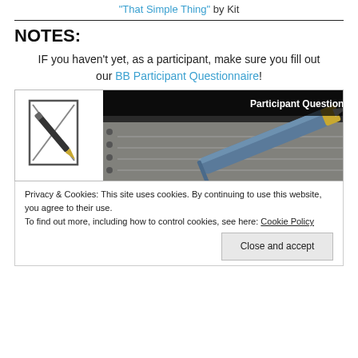"That Simple Thing" by Kit
NOTES:
IF you haven't yet, as a participant, make sure you fill out our BB Participant Questionnaire!
[Figure (illustration): BlogBattle Participant Questionnaire banner image showing the #BlogBattle logo on the left with a fountain pen resting on a notebook on the right, with white bold text reading 'Participant Questionnaire' on a dark background.]
Privacy & Cookies: This site uses cookies. By continuing to use this website, you agree to their use.
To find out more, including how to control cookies, see here: Cookie Policy
Close and accept